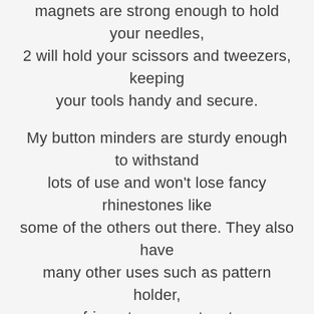magnets are strong enough to hold your needles, 2 will hold your scissors and tweezers, keeping your tools handy and secure.
My button minders are sturdy enough to withstand lots of use and won't lose fancy rhinestones like some of the others out there. They also have many other uses such as pattern holder, refrigerator magnets, etc.
Please note 2 sizes are available. The smaller 1 inch diameter size uses industrial grade ceramic magnets, these are not the craft magnets found at your local craft store, they are high quality magnets that will not leave marks on your fabric